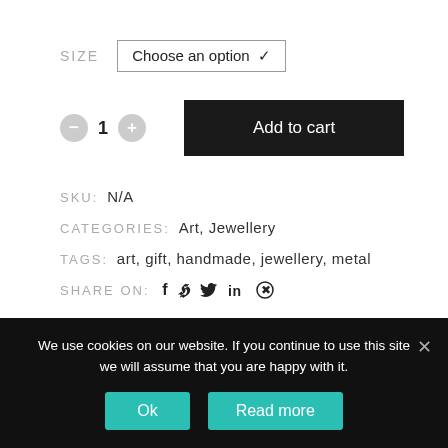SIZE   Choose an option
- 1 +   Add to cart
SKU: N/A
CATEGORIES: Art, Jewellery
TAGS: art, gift, handmade, jewellery, metal
SHARE ON: [facebook] [twitter] [linkedin] [pinterest]
We use cookies on our website. If you continue to use this site we will assume that you are happy with it.
Ok   Read more